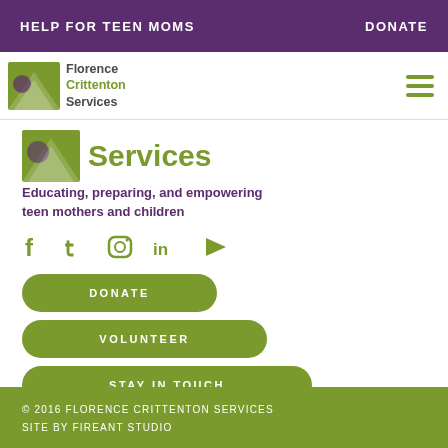HELP FOR TEEN MOMS    DONATE
[Figure (logo): Florence Crittenton Services logo with stylized road/path icon]
[Figure (logo): Partial Florence Crittenton Services large logo with green 'Services' text]
Educating, preparing, and empowering teen mothers and children
[Figure (infographic): Social media icons row: Facebook, Twitter, Instagram, LinkedIn, YouTube in olive green]
DONATE
VOLUNTEER
STAY IN TOUCH
© 2016 FLORENCE CRITTENTON SERVICES
SITE BY FIREANT STUDIO